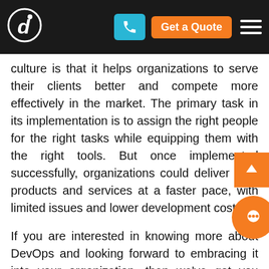Navigation bar with logo, phone button, Get a Quote button, and hamburger menu
culture is that it helps organizations to serve their clients better and compete more effectively in the market. The primary task in its implementation is to assign the right people for the right tasks while equipping them with the right tools. But once implemented successfully, organizations could deliver their products and services at a faster pace, with limited issues and lower development cost.
If you are interested in knowing more about DevOps and looking forward to embracing it into your organization, then we've got you covered. Our high end DevOps Advisory & Transformation services are focused on helping clients identify the key areas of improvement in their organization, provide